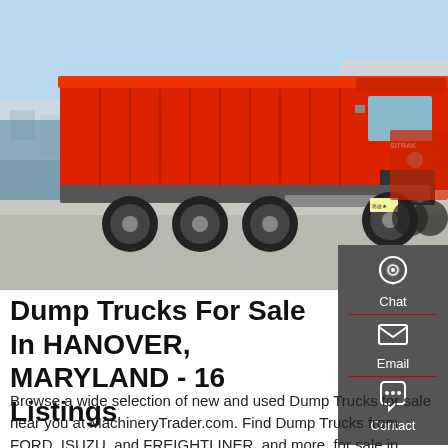[Figure (photo): Red SITRAK dump truck parked in a lot with other trucks and warehouse buildings in the background under a blue sky.]
Dump Trucks For Sale In HANOVER, MARYLAND - 16 Listings
Browse a wide selection of new and used Dump Trucks for sale near you at MachineryTrader.com. Find Dump Trucks from FORD, ISUZU, and FREIGHTLINER, and more, for sale in HANOVER, MARYLAND